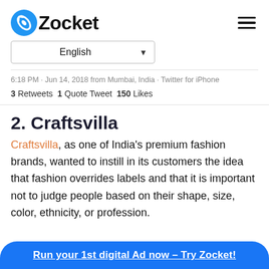Zocket
English ▼
6:18 PM · Jun 14, 2018 from Mumbai, India · Twitter for iPhone
3 Retweets  1 Quote Tweet  150 Likes
2. Craftsvilla
Craftsvilla, as one of India's premium fashion brands, wanted to instill in its customers the idea that fashion overrides labels and that it is important not to judge people based on their shape, size, color, ethnicity, or profession.
Run your 1st digital Ad now – Try Zocket!